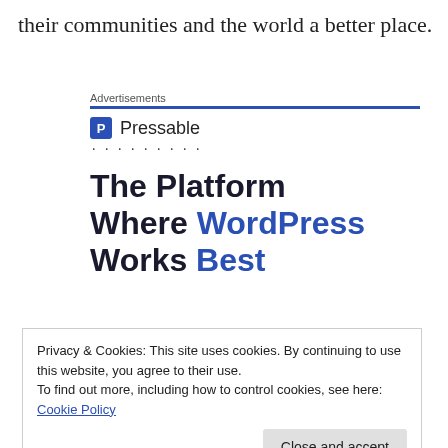their communities and the world a better place.
Advertisements
[Figure (logo): Pressable logo with blue P icon and brand name, followed by dots]
The Platform Where WordPress Works Best
Privacy & Cookies: This site uses cookies. By continuing to use this website, you agree to their use.
To find out more, including how to control cookies, see here: Cookie Policy